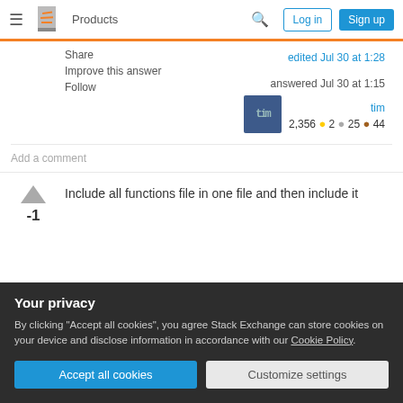≡  [Stack Overflow logo]  Products  [search icon]  Log in  Sign up
Share
Improve this answer
Follow
edited Jul 30 at 1:28
answered Jul 30 at 1:15
tim
2,356 ●2 ●25 ●44
Add a comment
Include all functions file in one file and then include it
-1
Your privacy
By clicking "Accept all cookies", you agree Stack Exchange can store cookies on your device and disclose information in accordance with our Cookie Policy.
Accept all cookies   Customize settings